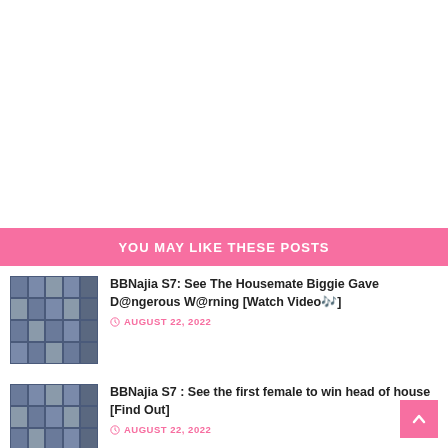YOU MAY LIKE THESE POSTS
BBNajia S7: See The Housemate Biggie Gave D@ngerous W@rning [Watch Video🎶]
AUGUST 22, 2022
BBNajia S7 : See the first female to win head of house [Find Out]
AUGUST 22, 2022